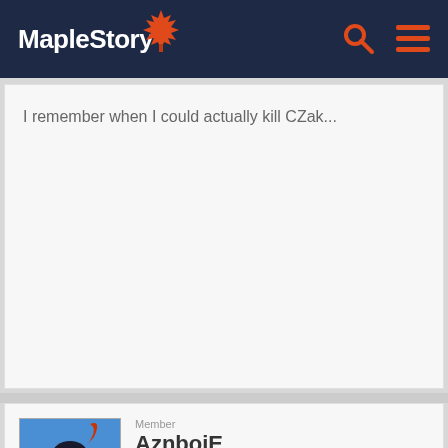MapleStory
I remember when I could actually kill CZak...
[Figure (illustration): Avatar of user AznboiE — a cartoon pirate character from MapleStory with a large hat and pink eyes, on a blue background]
Member
AznboiE
Reactions: 3,445
Posts: 519
OCTOBER 2016   EDITED OCTOBER 2016